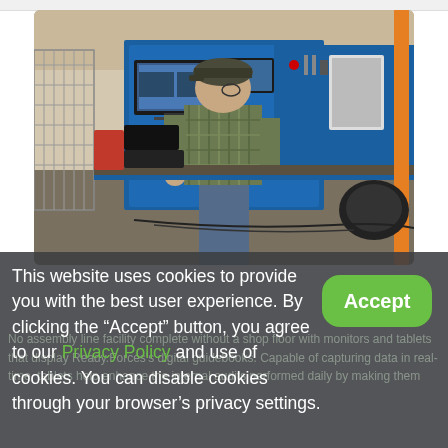[Figure (photo): A worker in a green plaid shirt and cap stands at an industrial workbench on a factory floor with monitors and tablets, blue metal racking with tools and equipment, cables on the floor.]
No assembly line facility complete without a shop floor with monitors and tablets that display Ready.Forces's digital guidebooks. Capable of capturing data in real-time, tablets help enhance the internal audits performed daily by making them
This website uses cookies to provide you with the best user experience. By clicking the “Accept” button, you agree to our Privacy Policy and use of cookies. You can disable cookies through your browser’s privacy settings.